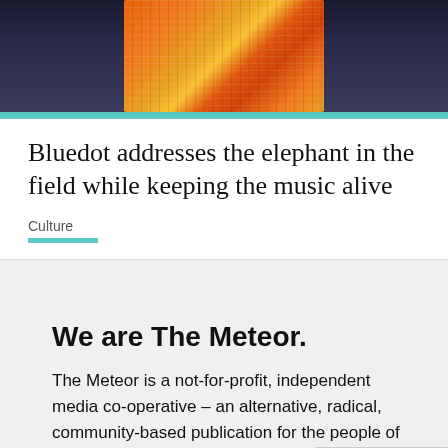[Figure (photo): Concert photo showing performer in colorful orange patterned outfit against dark background with audience]
Bluedot addresses the elephant in the field while keeping the music alive
Culture
We are The Meteor.
The Meteor is a not-for-profit, independent media co-operative – an alternative, radical, community-based publication for the people of Manchester. We tell stories that are neglected in the mainstream